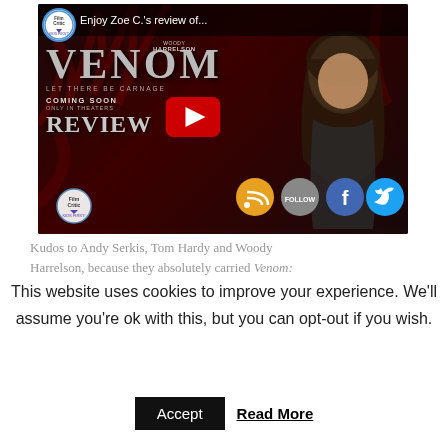[Figure (screenshot): YouTube video thumbnail for a review of Venom: Let There Be Carnage by Zoe C., with Kids First Film Critic logo, Venom movie poster imagery, a play button, and social media icons (RSS, Follow, Facebook, Twitter). A girl is visible on the right side of the thumbnail.]
Kudos to Andy Serkis, Tom Hardy and Woody Harrelson, because they absolutely carried Venom:
This website uses cookies to improve your experience. We'll assume you're ok with this, but you can opt-out if you wish.
Accept   Read More